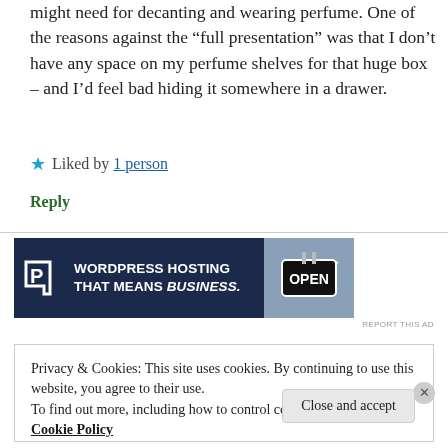might need for decanting and wearing perfume. One of the reasons against the “full presentation” was that I don’t have any space on my perfume shelves for that huge box – and I’d feel bad hiding it somewhere in a drawer.
★ Liked by 1 person
Reply
[Figure (other): Advertisement banner: Pressable WordPress Hosting That Means Business, with an OPEN sign image]
Privacy & Cookies: This site uses cookies. By continuing to use this website, you agree to their use.
To find out more, including how to control cookies, see here: Cookie Policy
Close and accept